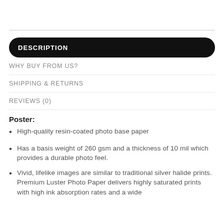DESCRIPTION
WHY BUY FROM US?
SHIPPING & RETURNS
REVIEWS (0)
Poster:
High-quality resin-coated photo base paper
Has a basis weight of 260 gsm and a thickness of 10 mil which provides a durable photo feel.
Vivid, lifelike images are similar to traditional silver halide prints. Premium Luster Photo Paper delivers highly saturated prints with high ink absorption rates and a wide